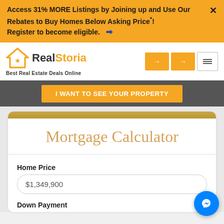Access 31% MORE Listings by Joining up and Use Our Rebates to Buy Homes Below Asking Price*! Register to become eligible. →
[Figure (screenshot): RealStoria logo with house icon and text 'Best Real Estate Deals Online', navigation buttons]
I WANT TO SEE YOUR PROPERTY
Mortgage Calculator
Home Price
$1,349,900
Down Payment